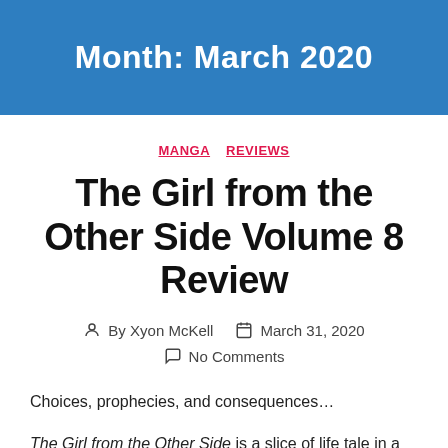Month: March 2020
MANGA  REVIEWS
The Girl from the Other Side Volume 8 Review
By Xyon McKell  March 31, 2020  No Comments
Choices, prophecies, and consequences…
The Girl from the Other Side is a slice of life tale in a